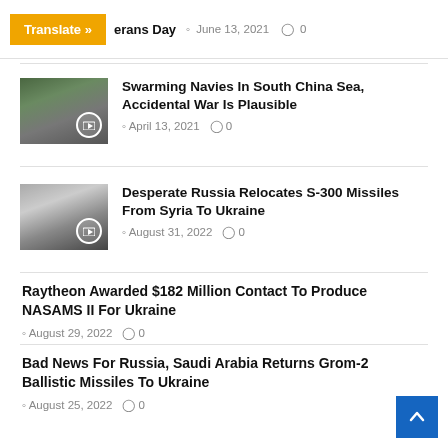Translate » erans Day  June 13, 2021  0
[Figure (photo): Military vehicles/soldiers photo thumbnail]
Swarming Navies In South China Sea, Accidental War Is Plausible
April 13, 2021  0
[Figure (photo): Missile launch photo thumbnail]
Desperate Russia Relocates S-300 Missiles From Syria To Ukraine
August 31, 2022  0
Raytheon Awarded $182 Million Contact To Produce NASAMS II For Ukraine
August 29, 2022  0
Bad News For Russia, Saudi Arabia Returns Grom-2 Ballistic Missiles To Ukraine
August 25, 2022  0